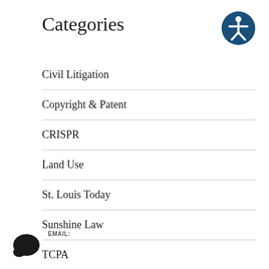Categories
[Figure (illustration): Accessibility icon: dark blue circle with white human figure silhouette with arms and legs spread, standard accessibility symbol]
Civil Litigation
Copyright & Patent
CRISPR
Land Use
St. Louis Today
Sunshine Law
TCPA
EMAIL: